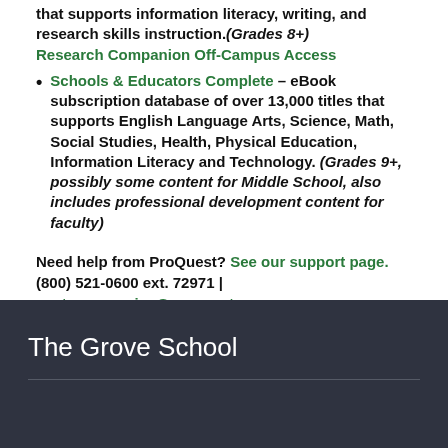that supports information literacy, writing, and research skills instruction.(Grades 8+)
Research Companion Off-Campus Access
Schools & Educators Complete – eBook subscription database of over 13,000 titles that supports English Language Arts, Science, Math, Social Studies, Health, Physical Education, Information Literacy and Technology. (Grades 9+, possibly some content for Middle School, also includes professional development content for faculty)
Need help from ProQuest? See our support page. (800) 521-0600 ext. 72971 | customerservice@proquest.com
The Grove School